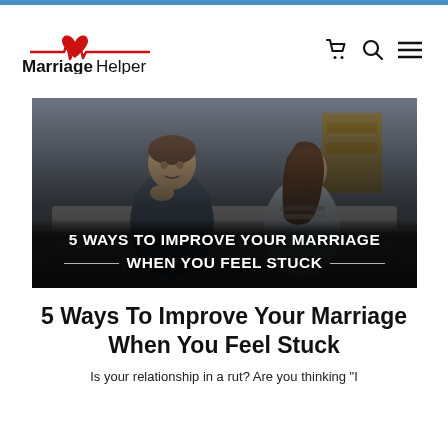[Figure (logo): MarriageHelper logo with red heart and EKG line SVG icon above the text 'MarriageHelper']
[Figure (photo): A couple sitting on a couch looking distressed and apart from each other, man with hand on chin looking down, woman looking away. Overlaid text reads '5 WAYS TO IMPROVE YOUR MARRIAGE WHEN YOU FEEL STUCK']
5 Ways To Improve Your Marriage When You Feel Stuck
Is your relationship in a rut? Are you thinking "I